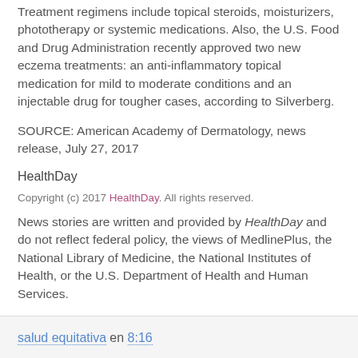Treatment regimens include topical steroids, moisturizers, phototherapy or systemic medications. Also, the U.S. Food and Drug Administration recently approved two new eczema treatments: an anti-inflammatory topical medication for mild to moderate conditions and an injectable drug for tougher cases, according to Silverberg.
SOURCE: American Academy of Dermatology, news release, July 27, 2017
HealthDay
Copyright (c) 2017 HealthDay. All rights reserved.
News stories are written and provided by HealthDay and do not reflect federal policy, the views of MedlinePlus, the National Library of Medicine, the National Institutes of Health, or the U.S. Department of Health and Human Services.
More Health News on
Eczema
salud equitativa en 8:16